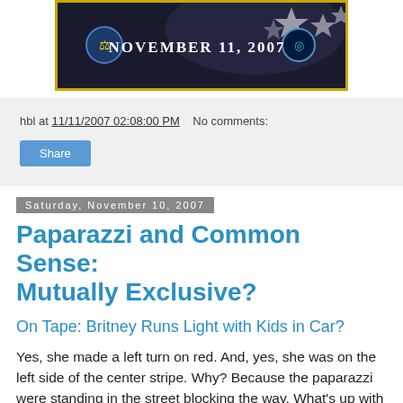[Figure (illustration): Dark banner image with stars and gold border showing 'NOVEMBER 11, 2007' with military/patriotic emblems]
hbl at 11/11/2007 02:08:00 PM   No comments:
Share
Saturday, November 10, 2007
Paparazzi and Common Sense: Mutually Exclusive?
On Tape: Britney Runs Light with Kids in Car?
Yes, she made a left turn on red. And, yes, she was on the left side of the center stripe. Why? Because the paparazzi were standing in the street blocking the way. What's up with that?